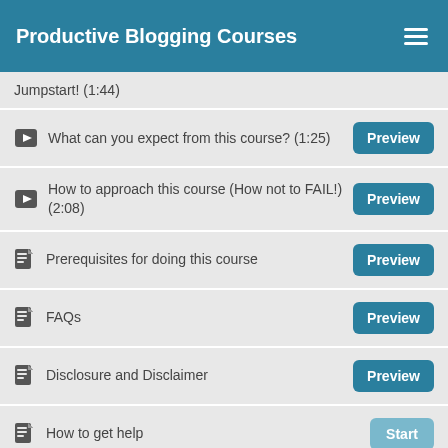Productive Blogging Courses
Jumpstart! (1:44)
What can you expect from this course? (1:25)
How to approach this course (How not to FAIL!) (2:08)
Prerequisites for doing this course
FAQs
Disclosure and Disclaimer
How to get help